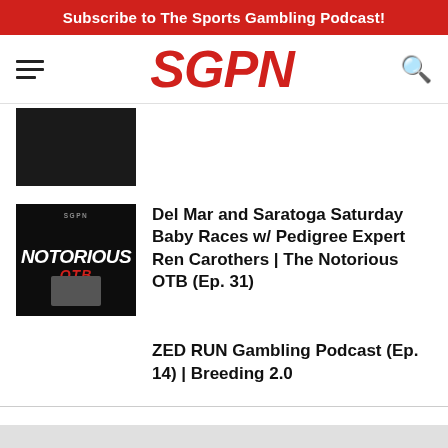Subscribe to The Sports Gambling Podcast!
[Figure (logo): SGPN logo in red italic bold letters with hamburger menu icon on left and search icon on right]
[Figure (photo): Dark thumbnail image partially visible at top]
[Figure (logo): Notorious OTB podcast cover art with dark background]
Del Mar and Saratoga Saturday Baby Races w/ Pedigree Expert Ren Carothers | The Notorious OTB (Ep. 31)
ZED RUN Gambling Podcast (Ep. 14) | Breeding 2.0
[Figure (logo): SGPN stacked footer logo in red on gray background]